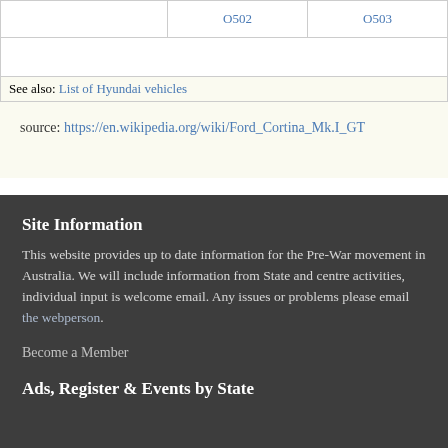|  | O502 | O503 |
|  |  |  |
|  | See also: List of Hyundai vehicles |  |
source: https://en.wikipedia.org/wiki/Ford_Cortina_Mk.I_GT
Site Information
This website provides up to date information for the Pre-War movement in Australia. We will include information from State and centre activities, individual input is welcome email. Any issues or problems please email the webperson.
Become a Member
Ads, Register & Events by State